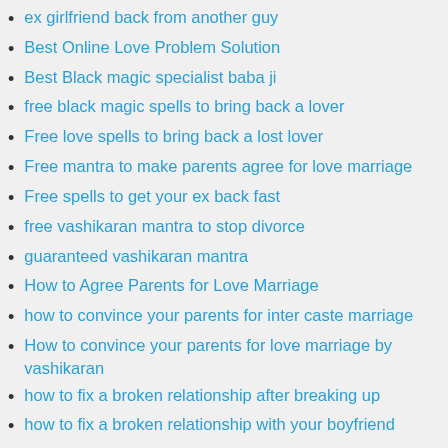ex girlfriend back from another guy
Best Online Love Problem Solution
Best Black magic specialist baba ji
free black magic spells to bring back a lover
Free love spells to bring back a lost lover
Free mantra to make parents agree for love marriage
Free spells to get your ex back fast
free vashikaran mantra to stop divorce
guaranteed vashikaran mantra
How to Agree Parents for Love Marriage
how to convince your parents for inter caste marriage
How to convince your parents for love marriage by vashikaran
how to fix a broken relationship after breaking up
how to fix a broken relationship with your boyfriend
how to fix a broken relationship with your girlfriend
How to get rid of black magic permanently
how to vashikaran a girl by photo
spell to fix a broken relationship
Spell to remove relationship problems
Spells to get ex back fast
spells to get your ex back
stop divorce after separation